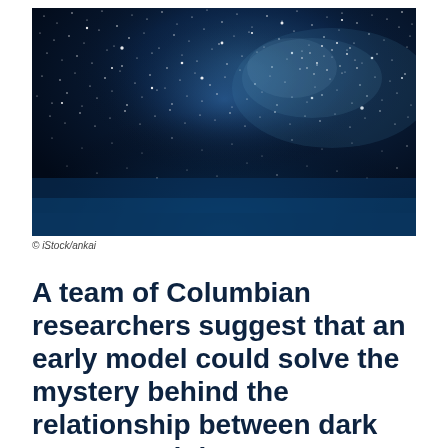[Figure (photo): Night sky photograph showing the Milky Way galaxy with countless stars against a dark blue background, with a bright central band of stars visible.]
© iStock/ankai
A team of Columbian researchers suggest that an early model could solve the mystery behind the relationship between dark energy and the cosmological constant.